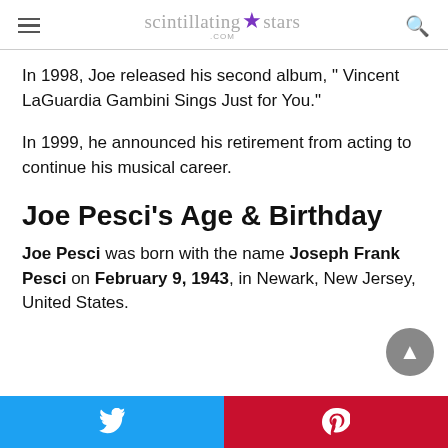scintillating★stars.com
In 1998, Joe released his second album, " Vincent LaGuardia Gambini Sings Just for You."
In 1999, he announced his retirement from acting to continue his musical career.
Joe Pesci's Age & Birthday
Joe Pesci was born with the name Joseph Frank Pesci on February 9, 1943, in Newark, New Jersey, United States.